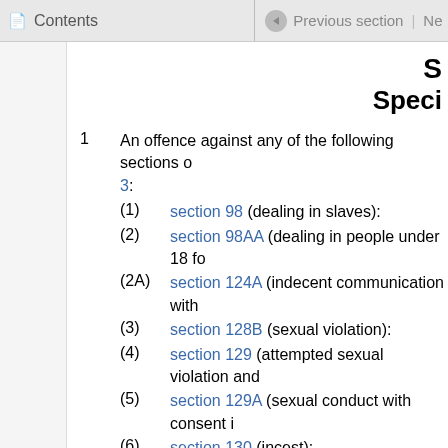Contents | Previous section | Ne
S... Speci...
1  An offence against any of the following sections of ... 3:
(1) section 98 (dealing in slaves):
(2) section 98AA (dealing in people under 18 fo...
(2A) section 124A (indecent communication with...
(3) section 128B (sexual violation):
(4) section 129 (attempted sexual violation and...
(5) section 129A (sexual conduct with consent i...
(6) section 130 (incest):
(7) section 131 (sexual conduct with dependent...
(8) section 131B (meeting young person follow...
(9) section 132 (sexual conduct with child und...